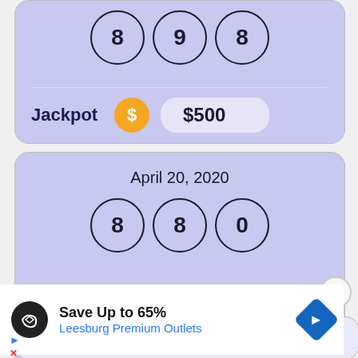[Figure (screenshot): Lottery results card (partial top) showing balls 8, 9, 8 and Jackpot $500]
[Figure (screenshot): Lottery results card for April 20, 2020 showing balls 8, 8, 0]
April 20, 2020
Jackpot  $500
[Figure (infographic): Advertisement overlay: Save Up to 65% Leesburg Premium Outlets with logo and navigation arrow]